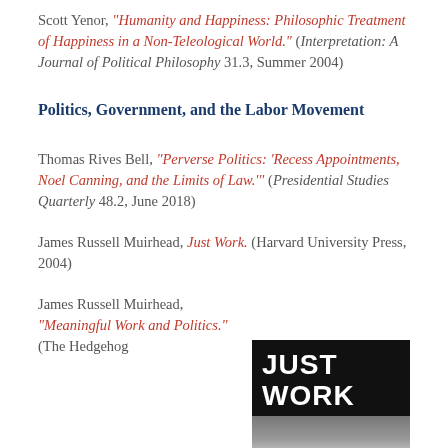Scott Yenor, "Humanity and Happiness: Philosophic Treatment of Happiness in a Non-Teleological World." (Interpretation: A Journal of Political Philosophy 31.3, Summer 2004)
Politics, Government, and the Labor Movement
Thomas Rives Bell, "Perverse Politics: 'Recess Appointments, Noel Canning, and the Limits of Law.'" (Presidential Studies Quarterly 48.2, June 2018)
James Russell Muirhead, Just Work. (Harvard University Press, 2004)
James Russell Muirhead, "Meaningful Work and Politics." (The Hedgehog
[Figure (photo): Book cover of 'Just Work' — black background with white bold text reading JUST WORK, with a photographic image below showing what appears to be architectural or industrial elements in grey tones.]